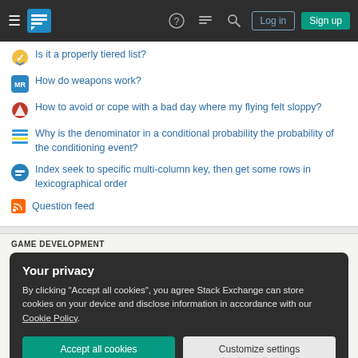Stack Exchange navigation bar with Log in and Sign up buttons
Is it a properly tiered list?
How do weapons work?
How to avoid or cope with a bad day where my flying felt sloppy?
Why is the denominator in a conditional probability the probability of the conditioning event?
Index seek to specific multi-column key, then get some rows in lexicographical order
Question feed
GAME DEVELOPMENT
Your privacy
By clicking "Accept all cookies", you agree Stack Exchange can store cookies on your device and disclose information in accordance with our Cookie Policy.
Accept all cookies | Customize settings
STACK EXCHANGE NETWORK